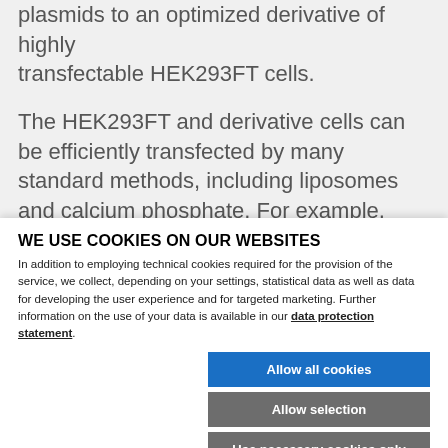plasmids to an optimized derivative of highly transfectable HEK293FT cells.
The HEK293FT and derivative cells can be efficiently transfected by many standard methods, including liposomes and calcium phosphate. For example, commercial Lipofectamine (Invitrogen) and jetPEI™
WE USE COOKIES ON OUR WEBSITES
In addition to employing technical cookies required for the provision of the service, we collect, depending on your settings, statistical data as well as data for developing the user experience and for targeted marketing. Further information on the use of your data is available in our data protection statement.
Allow all cookies
Allow selection
Use necessary cookies only
Necessary technical cookies | Functional cookies | Statistics cookies | Marketing cookies | Show details